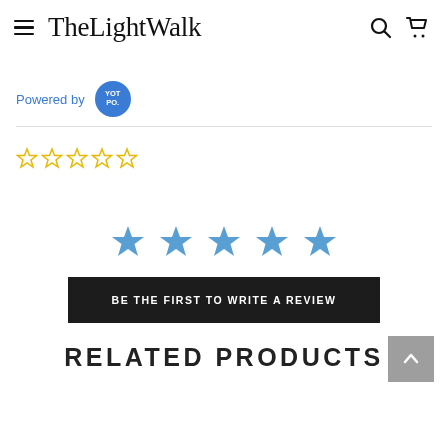TheLightWalk
[Figure (logo): Powered by Yotpo badge with blue circle containing 'YOT PO.' text]
[Figure (other): Five empty star rating icons in yellow/gold outline]
[Figure (other): Five filled blue star icons for review prompt]
BE THE FIRST TO WRITE A REVIEW
RELATED PRODUCTS